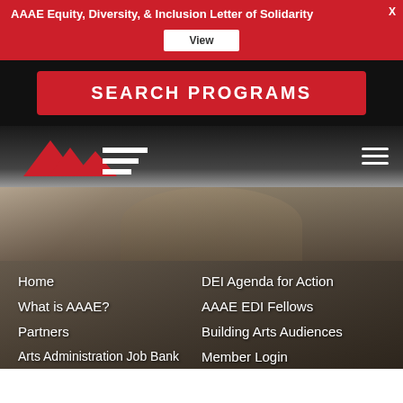AAAE Equity, Diversity, & Inclusion Letter of Solidarity
View
SEARCH PROGRAMS
[Figure (logo): AAAE logo with red triangular mountain-like shape and horizontal lines forming stylized text]
Home
What is AAAE?
Partners
Arts Administration Job Bank
Conference
DEI Agenda for Action
AAAE EDI Fellows
Building Arts Audiences
Member Login
Privacy Policy